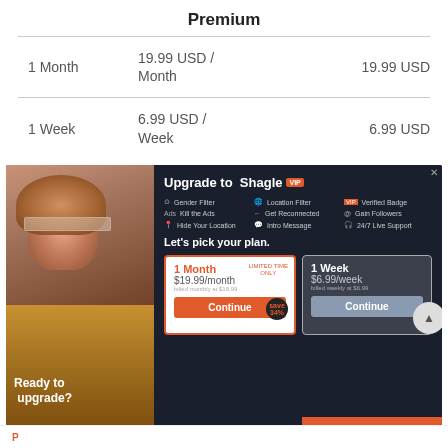Premium
|  | Rate | Total |
| --- | --- | --- |
| 1 Month | 19.99 USD / Month | 19.99 USD |
| 1 Week | 6.99 USD / Week | 6.99 USD |
[Figure (screenshot): Shagle VIP upgrade advertisement overlay showing features (Gender Filter, Location Filter, Verified Badge, Kill the Ads, Get Reconnected, Gain Followers, Hide Your Location, Intro Message, 24/7 Live Support), plan picker with 1 Month at $19.99/month and 1 Week at $6.99/week with Continue buttons, and a woman wearing shutter shades on the left with 'Ready to upgrade?' text.]
Ready to upgrade?